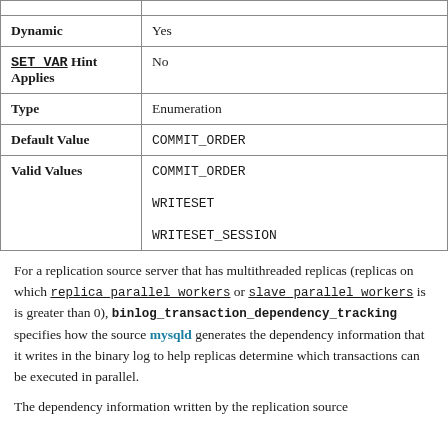| Property | Value |
| --- | --- |
| Dynamic | Yes |
| SET_VAR Hint Applies | No |
| Type | Enumeration |
| Default Value | COMMIT_ORDER |
| Valid Values | COMMIT_ORDER
WRITESET
WRITESET_SESSION |
For a replication source server that has multithreaded replicas (replicas on which replica_parallel_workers or slave_parallel_workers is is greater than 0), binlog_transaction_dependency_tracking specifies how the source mysqld generates the dependency information that it writes in the binary log to help replicas determine which transactions can be executed in parallel.
The dependency information written by the replication source